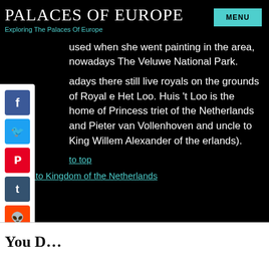PALACES OF EUROPE
Exploring The Palaces Of Europe
used when she went painting in the area, nowadays The Veluwe National Park.
adays there still live royals on the grounds of Royal e Het Loo. Huis 't Loo is the home of Princess triet of the Netherlands and Pieter van Vollenhoven and uncle to King Willem Alexander of the erlands).
to top
Back to Kingdom of the Netherlands
You D...